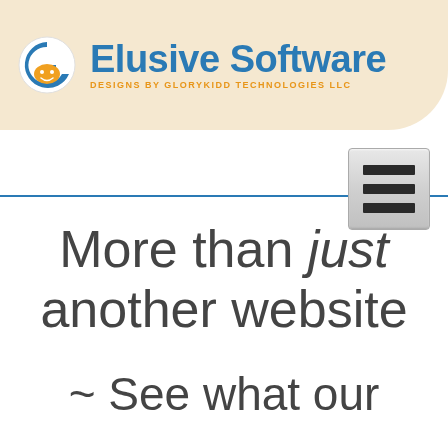[Figure (logo): Elusive Software header banner with GloryKidd logo on left and 'Elusive Software' text in blue with subtitle 'DESIGNS BY GLORYKIDD TECHNOLOGIES LLC' in orange]
[Figure (screenshot): Hamburger/navigation menu button with three dark horizontal bars on a silver gradient background]
More than just another website
~ See what our services give you